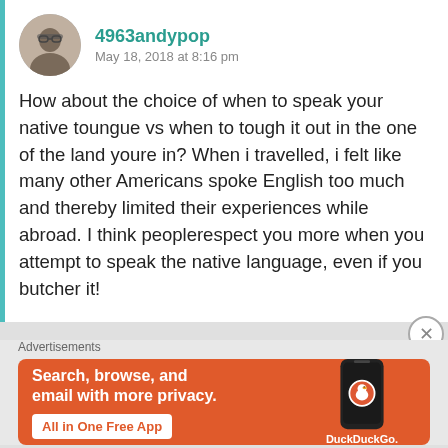4963andypop
May 18, 2018 at 8:16 pm
How about the choice of when to speak your native toungue vs when to tough it out in the one of the land youre in? When i travelled, i felt like many other Americans spoke English too much and thereby limited their experiences while abroad. I think peoplerespect you more when you attempt to speak the native language, even if you butcher it!
Advertisements
[Figure (screenshot): DuckDuckGo advertisement: orange background with white bold text 'Search, browse, and email with more privacy.' and 'All in One Free App' button, alongside a dark smartphone showing the DuckDuckGo logo and brand name.]